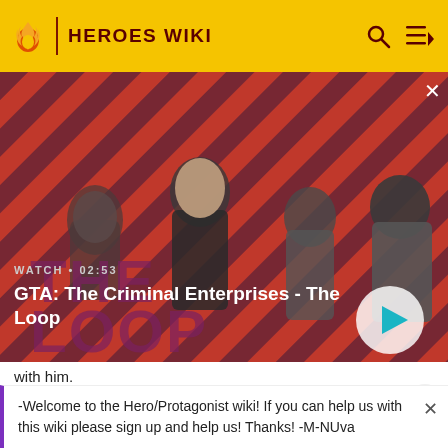HEROES WIKI
[Figure (screenshot): GTA: The Criminal Enterprises - The Loop video thumbnail showing four characters on a red diagonal striped background. Text overlay reads WATCH • 02:53 and title GTA: The Criminal Enterprises - The Loop with a play button.]
with him.
After Kabal and Mileena's deaths, Bi-Han, now calling
-Welcome to the Hero/Protagonist wiki! If you can help us with this wiki please sign up and help us! Thanks! -M-NUva